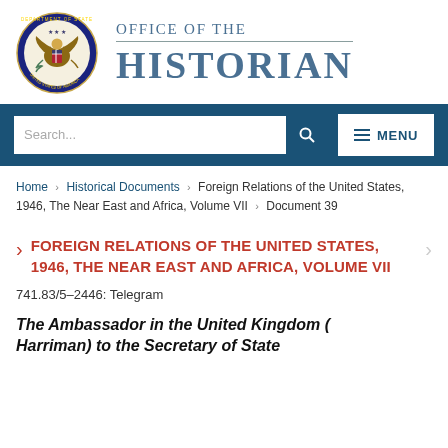[Figure (logo): US Department of State seal and Office of the Historian header logo]
Search...
MENU
Home › Historical Documents › Foreign Relations of the United States, 1946, The Near East and Africa, Volume VII › Document 39
FOREIGN RELATIONS OF THE UNITED STATES, 1946, THE NEAR EAST AND AFRICA, VOLUME VII
741.83/5–2446: Telegram
The Ambassador in the United Kingdom (Harriman) to the Secretary of State